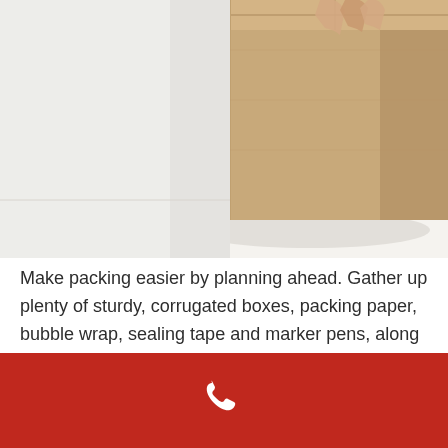[Figure (photo): Close-up photo of a person holding a large cardboard corrugated box, blurred background with light wall.]
Make packing easier by planning ahead. Gather up plenty of sturdy, corrugated boxes, packing paper, bubble wrap, sealing tape and marker pens, along with any furniture covers.
[Figure (other): Red footer bar with a white telephone/phone icon in the center.]